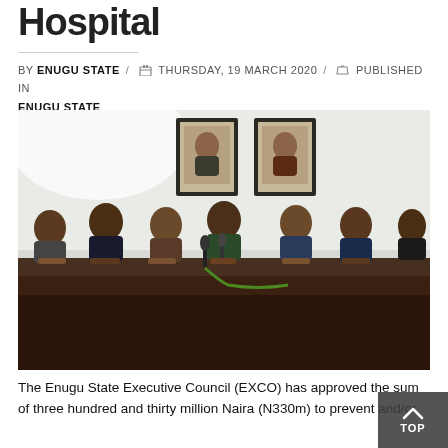Hospital
BY ENUGU STATE / THURSDAY, 19 MARCH 2020 / PUBLISHED IN ENUGU STATE
[Figure (photo): Seven people seated at a long dark conference table during a press briefing in an office, with two framed portraits hanging on the wall behind them. Microphones are placed on the table in front of the central speaker.]
The Enugu State Executive Council (EXCO) has approved the sum of three hundred and thirty million Naira (N330m) to prevent and/or